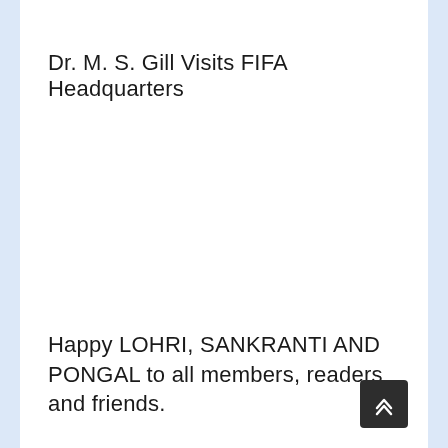Dr. M. S. Gill Visits FIFA Headquarters
Happy LOHRI, SANKRANTI AND PONGAL to all members, readers and friends.